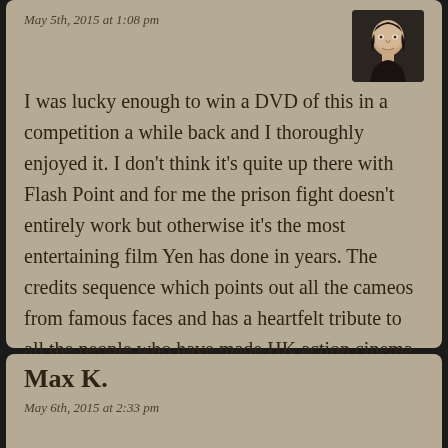May 5th, 2015 at 1:08 pm
[Figure (photo): Profile photo of a person with dark hair against dark background]
I was lucky enough to win a DVD of this in a competition a while back and I thoroughly enjoyed it. I don't think it's quite up there with Flash Point and for me the prison fight doesn't entirely work but otherwise it's the most entertaining film Yen has done in years. The credits sequence which points out all the cameos from famous faces and has a heartfelt tribute to all the people who have made HK action cinema what it is (or was) really made me smile.
Max K.
May 6th, 2015 at 2:33 pm